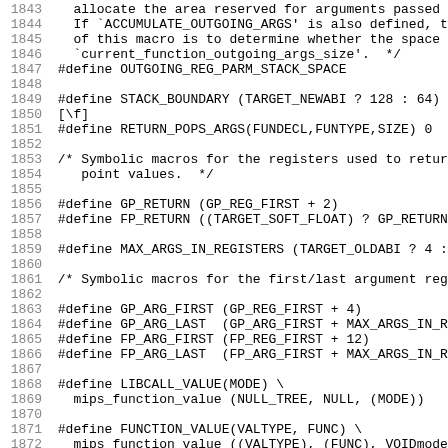1843   allocate the area reserved for arguments passed in registers.
1844   If `ACCUMULATE_OUTGOING_ARGS' is also defined, the c
1845   of this macro is to determine whether the space is i
1846   `current_function_outgoing_args_size'.  */
1847 #define OUTGOING_REG_PARM_STACK_SPACE
1848
1849 #define STACK_BOUNDARY (TARGET_NEWABI ? 128 : 64)
1850 [\f]
1851 #define RETURN_POPS_ARGS(FUNDECL,FUNTYPE,SIZE) 0
1852
1853 /* Symbolic macros for the registers used to return int
1854    point values.  */
1855
1856 #define GP_RETURN (GP_REG_FIRST + 2)
1857 #define FP_RETURN ((TARGET_SOFT_FLOAT) ? GP_RETURN : (F
1858
1859 #define MAX_ARGS_IN_REGISTERS (TARGET_OLDABI ? 4 : 8)
1860
1861 /* Symbolic macros for the first/last argument register
1862
1863 #define GP_ARG_FIRST (GP_REG_FIRST + 4)
1864 #define GP_ARG_LAST  (GP_ARG_FIRST + MAX_ARGS_IN_REGIST
1865 #define FP_ARG_FIRST (FP_REG_FIRST + 12)
1866 #define FP_ARG_LAST  (FP_ARG_FIRST + MAX_ARGS_IN_REGIST
1867
1868 #define LIBCALL_VALUE(MODE) \
1869   mips_function_value (NULL_TREE, NULL, (MODE))
1870
1871 #define FUNCTION_VALUE(VALTYPE, FUNC) \
1872   mips_function_value ((VALTYPE), (FUNC), VOIDmode)
1873
1874 /* 1 if N is a possible register number for a function